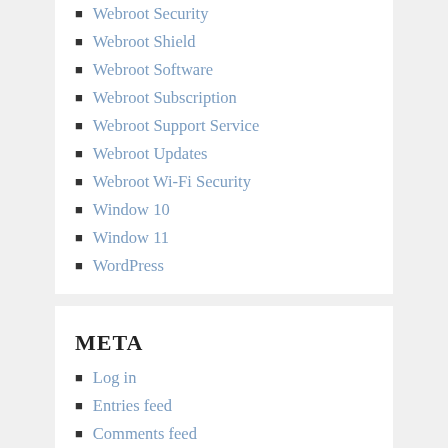Webroot Security
Webroot Shield
Webroot Software
Webroot Subscription
Webroot Support Service
Webroot Updates
Webroot Wi-Fi Security
Window 10
Window 11
WordPress
META
Log in
Entries feed
Comments feed